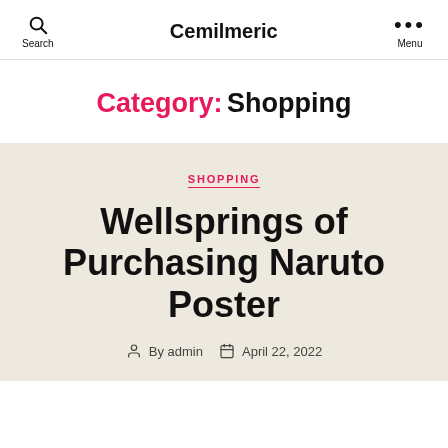Cemilmeric
Category: Shopping
SHOPPING
Wellsprings of Purchasing Naruto Poster
By admin   April 22, 2022